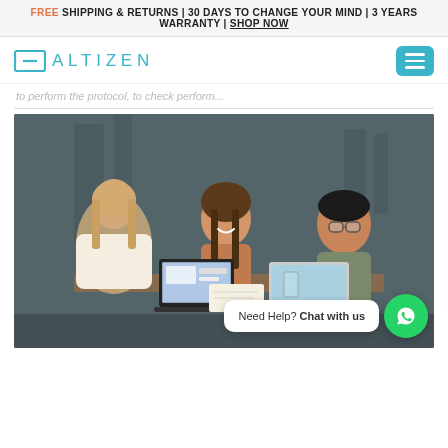FREE SHIPPING & RETURNS | 30 DAYS TO CHANGE YOUR MIND | 3 YEARS WARRANTY | SHOP NOW
[Figure (logo): Altizen brand logo with teal square bracket icon and teal uppercase ALTIZEN text, plus teal hamburger menu button on the right]
to perform the protocol, to check perform...
[Figure (photo): Three people sitting at a table with laptops, smiling and talking in a café-style setting with a dark textured wall background. A 'Need Help? Chat with us' speech bubble and WhatsApp button overlay appears at the bottom right.]